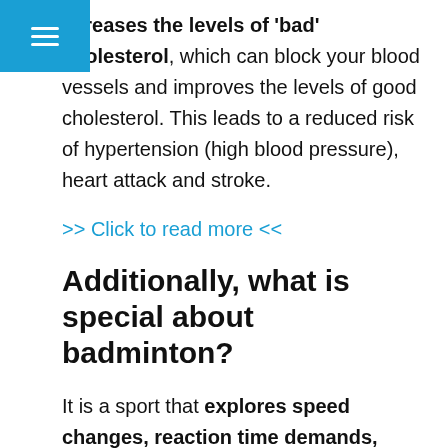☰
ecreases the levels of 'bad' cholesterol, which can block your blood vessels and improves the levels of good cholesterol. This leads to a reduced risk of hypertension (high blood pressure), heart attack and stroke.
>> Click to read more <<
Additionally, what is special about badminton?
It is a sport that explores speed changes, reaction time demands, muscular strength and endurance challenges, and is heart-pumping fun. This newly identified Olympic Sport offers